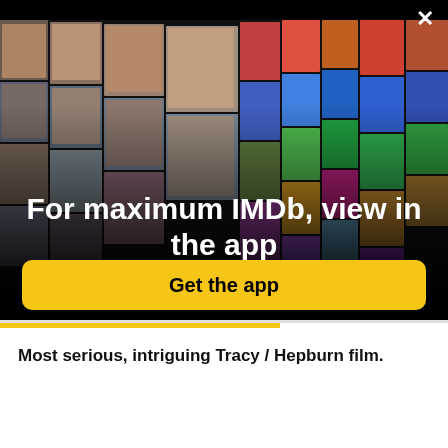[Figure (photo): IMDb promotional banner showing a mosaic collage of celebrity headshots and movie posters arranged in a 3D perspective, on a black background. A white X close button is in the top right corner.]
For maximum IMDb, view in the app
Get the app
Most serious, intriguing Tracy / Hepburn film.